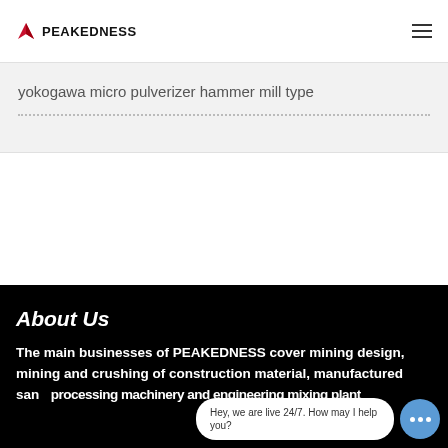PEAKEDNESS
yokogawa micro pulverizer hammer mill type
About Us
The main businesses of PEAKEDNESS cover mining design, mining and crushing of construction materials, manufactured sand processing machinery and engineering mixing plant